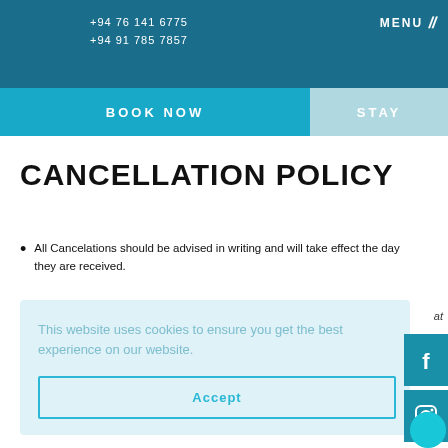+94 76 141 6775
+94 91 785 7857
MENU
BOOK NOW
STAY
CANCELLATION POLICY
All Cancelations should be advised in writing and will take effect the day they are received.
This website uses cookies to ensure you get the best experience on our website.
Accept
No shows and stays that are cut short will incur a 100%